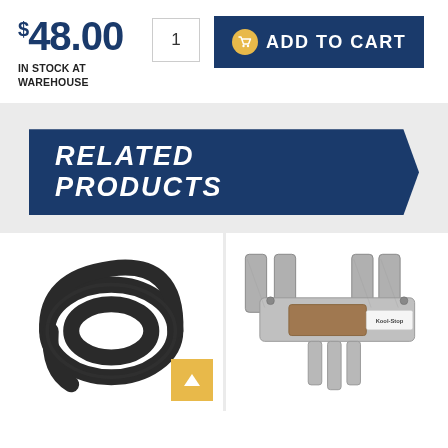$48.00
IN STOCK AT WAREHOUSE
[Figure (screenshot): Quantity input box showing '1']
[Figure (screenshot): Blue 'Add to Cart' button with cart icon]
RELATED PRODUCTS
[Figure (photo): Coiled black rubber hose or cable]
[Figure (photo): Kool-Stop brake pads with metal carrier]